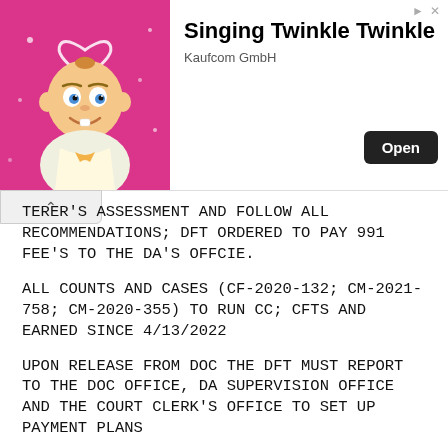[Figure (infographic): Advertisement banner for 'Singing Twinkle Twinkle' app by Kaufcom GmbH, showing a cartoon baby with a heart halo on a pink background, with 'Open' button.]
TERER'S ASSESSMENT AND FOLLOW ALL RECOMMENDATIONS; DFT ORDERED TO PAY 991 FEE'S TO THE DA'S OFFCIE.
ALL COUNTS AND CASES (CF-2020-132; CM-2021-758; CM-2020-355) TO RUN CC; CFTS AND EARNED SINCE 4/13/2022
UPON RELEASE FROM DOC THE DFT MUST REPORT TO THE DOC OFFICE, DA SUPERVISION OFFICE AND THE COURT CLERK'S OFFICE TO SET UP PAYMENT PLANS
DFT REQUESTS IMMEDIATE TRANSPORT; DFT EXECUTED A RULE 8 FORM; DFT ADVISED OF